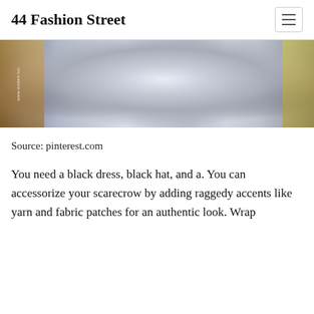44 Fashion Street
[Figure (photo): Close-up photo of a metallic silver costume or outfit with studs/buttons and ruffled edges, watermarked with www.makeit-lov]
Source: pinterest.com
You need a black dress, black hat, and a. You can accessorize your scarecrow by adding raggedy accents like yarn and fabric patches for an authentic look. Wrap